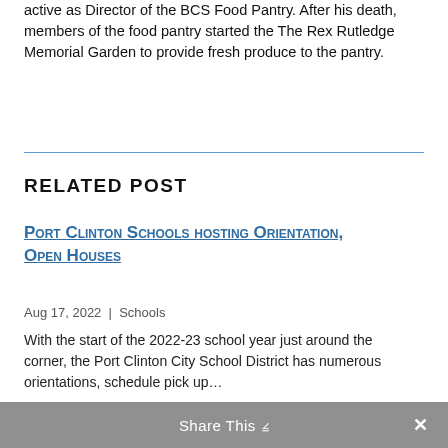active as Director of the BCS Food Pantry. After his death, members of the food pantry started the The Rex Rutledge Memorial Garden to provide fresh produce to the pantry.
RELATED POST
Port Clinton Schools hosting Orientation, Open Houses
Aug 17, 2022 | Schools
With the start of the 2022-23 school year just around the corner, the Port Clinton City School District has numerous orientations, schedule pick up…
Share This